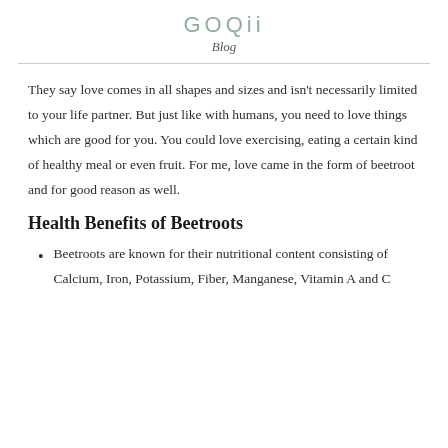GOQii Blog
They say love comes in all shapes and sizes and isn't necessarily limited to your life partner. But just like with humans, you need to love things which are good for you. You could love exercising, eating a certain kind of healthy meal or even fruit. For me, love came in the form of beetroot and for good reason as well.
Health Benefits of Beetroots
Beetroots are known for their nutritional content consisting of Calcium, Iron, Potassium, Fiber, Manganese, Vitamin A and C